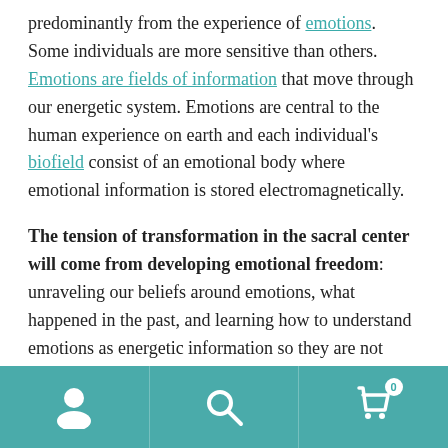predominantly from the experience of emotions. Some individuals are more sensitive than others. Emotions are fields of information that move through our energetic system. Emotions are central to the human experience on earth and each individual's biofield consist of an emotional body where emotional information is stored electromagnetically.
The tension of transformation in the sacral center will come from developing emotional freedom: unraveling our beliefs around emotions, what happened in the past, and learning how to understand emotions as energetic information so they are not taken personally.
Traumatic emotional experiences start while we are in the
[Figure (other): Mobile navigation footer bar with user/profile icon, search icon, and shopping cart icon with badge showing 0]